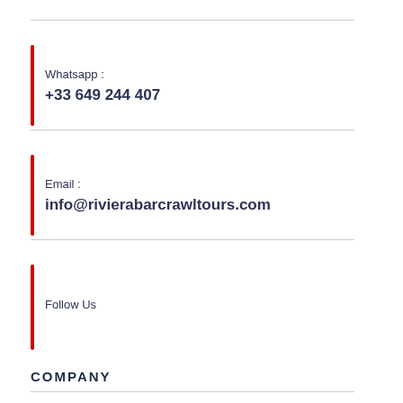Whatsapp :
+33 649 244 407
Email :
info@rivierabarcrawltours.com
Follow Us
COMPANY